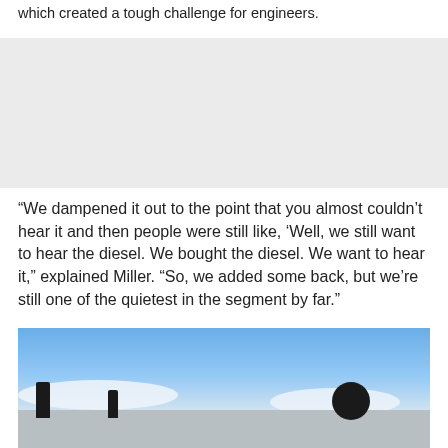which created a tough challenge for engineers.
[Figure (photo): Gray placeholder image, likely an advertisement or image block]
“We dampened it out to the point that you almost couldn’t hear it and then people were still like, ‘Well, we still want to hear the diesel. We bought the diesel. We want to hear it,” explained Miller. “So, we added some back, but we’re still one of the quietest in the segment by far.”
[Figure (photo): Outdoor photograph showing a blue sky with clouds and dark silhouettes of equipment or figures near the ground]